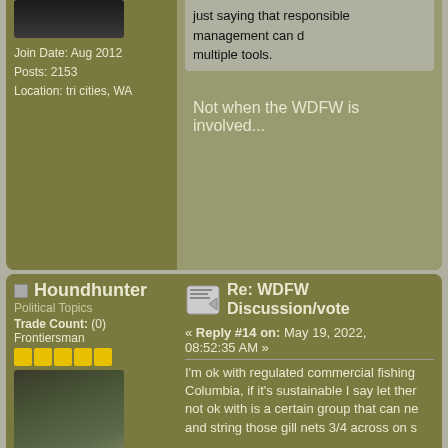[Figure (photo): User avatar photo at top, partial view of person/outdoor scene]
Join Date: Aug 2012
Posts: 2153
Location: tri cities, WA
just saying that responsible management can do multiple tools.
Not when the WDFW is involved...
Houndhunter
Political Topics
Trade Count: (0)
Frontiersman
[Figure (photo): Houndhunter user avatar photo showing person with caught fish outdoors]
Join Date: Nov 2007
Posts: 2940
Location: Continental Divide
Re: WDFW Discussion/vote
« Reply #14 on: May 19, 2022, 08:52:35 AM »
I'm ok with regulated commercial fishing Columbia, if it's sustainable I say let them not ok with is a certain group that can ne and string those gill nets 3/4 across on s
[Figure (photo): Bottom user avatar photo showing person with sunglasses outdoors among trees]
In Memory Of
Kevin Wolfe "Icema
Respected member, moderator, and family ma